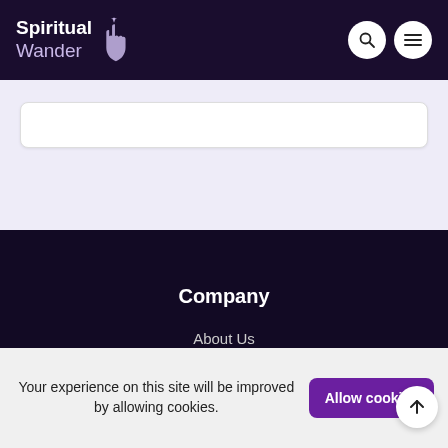Spiritual Wander
[Figure (screenshot): Search bar input box on light purple background]
Company
About Us
Contact
Your experience on this site will be improved by allowing cookies.
Allow cookies